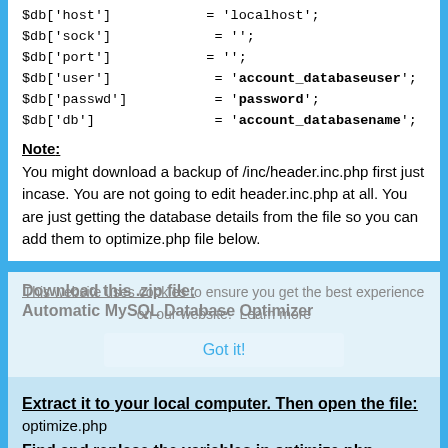$db['host'] = 'localhost'; $db['sock'] = ''; $db['port'] = ''; $db['user'] = 'account_databaseuser'; $db['passwd'] = 'password'; $db['db'] = 'account_databasename';
Note:
You might download a backup of /inc/header.inc.php first just incase. You are not going to edit header.inc.php at all. You are just getting the database details from the file so you can add them to optimize.php file below.
Download this .zip file:
Automatic MySQL Database Optimizer
Extract it to your local computer. Then open the file:
optimize.php
Find and replace the variables in optimize.php